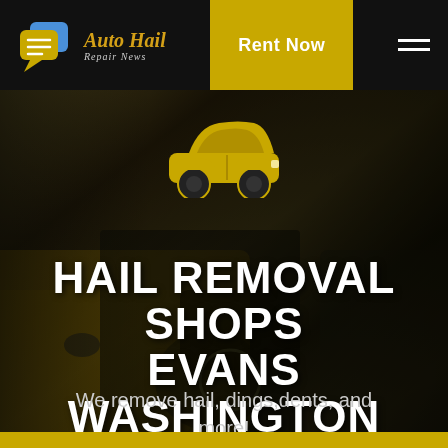[Figure (logo): Auto Hail Repair News logo with two overlapping speech bubble icons in blue and gold, followed by italic gold text 'Auto Hail' and subtitle 'Repair News']
Rent Now
[Figure (illustration): Background photo of a golden sports car with open door, overlaid with dark tint. A gold car icon/silhouette is centered above the title text.]
HAIL REMOVAL SHOPS EVANS WASHINGTON
We remove hail, dings,dents, and more!